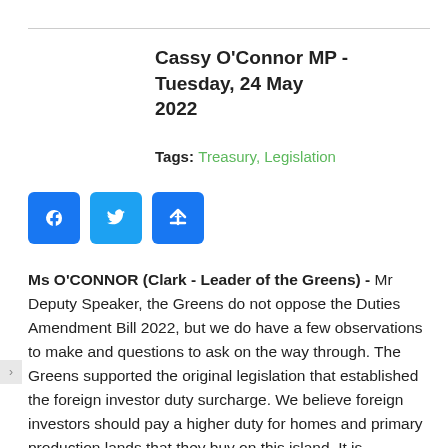Cassy O'Connor MP  -  Tuesday, 24 May 2022
Tags: Treasury, Legislation
[Figure (other): Social media share buttons: Facebook, Twitter, and a generic share button]
Ms O'CONNOR (Clark - Leader of the Greens) - Mr Deputy Speaker, the Greens do not oppose the Duties Amendment Bill 2022, but we do have a few observations to make and questions to ask on the way through. The Greens supported the original legislation that established the foreign investor duty surcharge. We believe foreign investors should pay a higher duty for homes and primary production lands that they buy on this island. It is unarguable that interstate and foreign